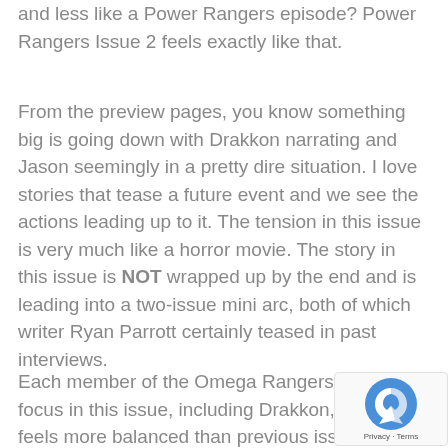and less like a Power Rangers episode? Power Rangers Issue 2 feels exactly like that.
From the preview pages, you know something big is going down with Drakkon narrating and Jason seemingly in a pretty dire situation. I love stories that tease a future event and we see the actions leading up to it. The tension in this issue is very much like a horror movie. The story in this issue is NOT wrapped up by the end and is leading into a two-issue mini arc, both of which writer Ryan Parrott certainly teased in past interviews.
Each member of the Omega Rangers get the focus in this issue, including Drakkon, which feels more balanced than previous issues. This